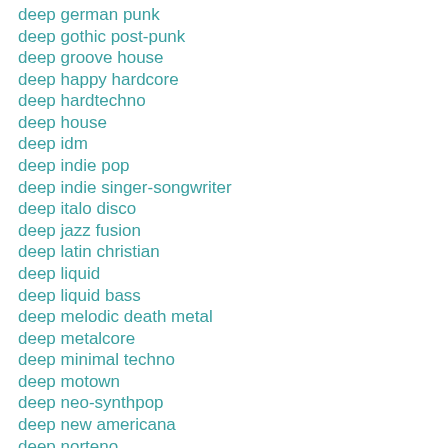deep german punk
deep gothic post-punk
deep groove house
deep happy hardcore
deep hardtechno
deep house
deep idm
deep indie pop
deep indie singer-songwriter
deep italo disco
deep jazz fusion
deep latin christian
deep liquid
deep liquid bass
deep melodic death metal
deep metalcore
deep minimal techno
deep motown
deep neo-synthpop
deep new americana
deep norteno
deep northern soul
deep orgcore
deep pop edm
deep pop emo